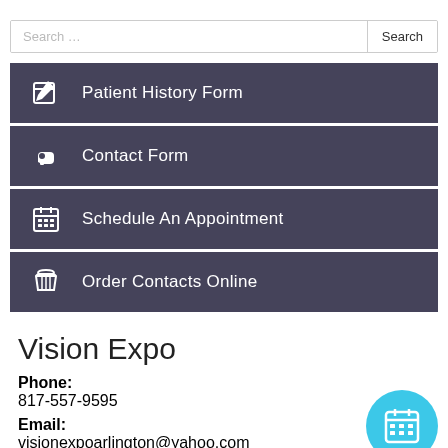Search …
Patient History Form
Contact Form
Schedule An Appointment
Order Contacts Online
Vision Expo
Phone: 817-557-9595
Email: visionexpoarlington@yahoo.com